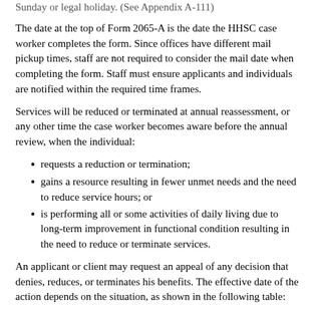Sunday or legal holiday. (See Appendix A-111)
The date at the top of Form 2065-A is the date the HHSC case worker completes the form. Since offices have different mail pickup times, staff are not required to consider the mail date when completing the form. Staff must ensure applicants and individuals are notified within the required time frames.
Services will be reduced or terminated at annual reassessment, or any other time the case worker becomes aware before the annual review, when the individual:
requests a reduction or termination;
gains a resource resulting in fewer unmet needs and the need to reduce service hours; or
is performing all or some activities of daily living due to long-term improvement in functional condition resulting in the need to reduce or terminate services.
An applicant or client may request an appeal of any decision that denies, reduces, or terminates his benefits. The effective date of the action depends on the situation, as shown in the following table:
| If . . . | Then . . . |
| --- | --- |
| Termination or reduction is because client lost his eligibility |  |